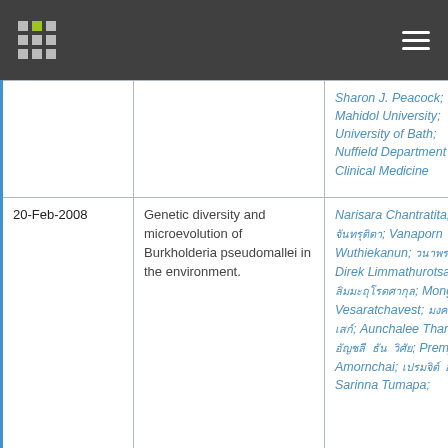| Date | Title | Authors |
| --- | --- | --- |
|  |  | Sharon J. Peacock; Mahidol University; University of Bath; Nuffield Department of Clinical Medicine |
| 20-Feb-2008 | Genetic diversity and microevolution of Burkholderia pseudomallei in the environment. | Narisara Chantratita; [Thai]; Vanaporn Wuthiekanun; [Thai]; Direk Limmathurotsakul; [Thai]; Mongkol Vesaratchavest; [Thai]; Aunchalee Thanwisai; [Thai]; Premjit Amornchai; [Thai]; Sarinna Tumapa; |